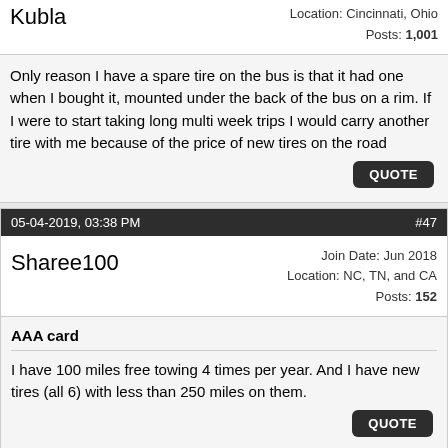Kubla
Location: Cincinnati, Ohio
Posts: 1,001
Only reason I have a spare tire on the bus is that it had one when I bought it, mounted under the back of the bus on a rim. If I were to start taking long multi week trips I would carry another tire with me because of the price of new tires on the road
QUOTE
05-04-2019, 03:38 PM   #47
Sharee100
Join Date: Jun 2018
Location: NC, TN, and CA
Posts: 152
AAA card
I have 100 miles free towing 4 times per year. And I have new tires (all 6) with less than 250 miles on them.
QUOTE